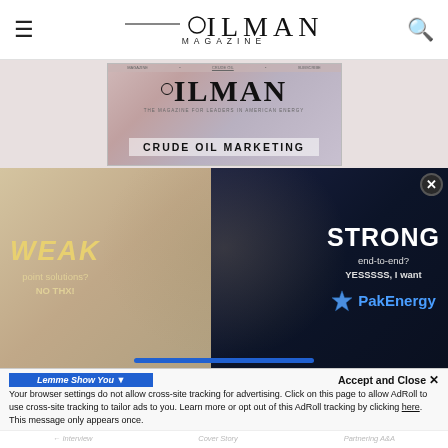OILMAN MAGAZINE
[Figure (photo): Oilman Magazine cover with 'CRUDE OIL MARKETING' headline]
[Figure (photo): PakEnergy advertisement showing split image of weak sheep vs strong wolf with text: WEAK point solutions? NO THX! / STRONG end-to-end? YESSSSS, I want / PakEnergy logo]
Accept and Close ×
Your browser settings do not allow cross-site tracking for advertising. Click on this page to allow AdRoll to use cross-site tracking to tailor ads to you. Learn more or opt out of this AdRoll tracking by clicking here. This message only appears once.
Lemme Show You 🔽